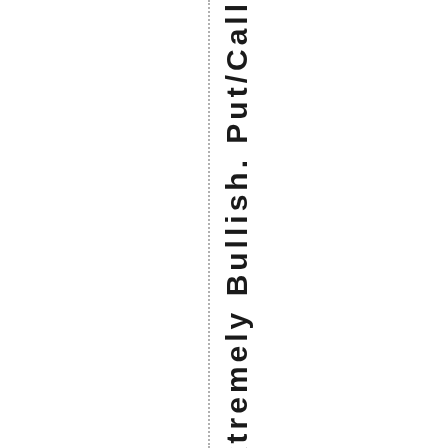ment – Extremely Bullish. Put/Call